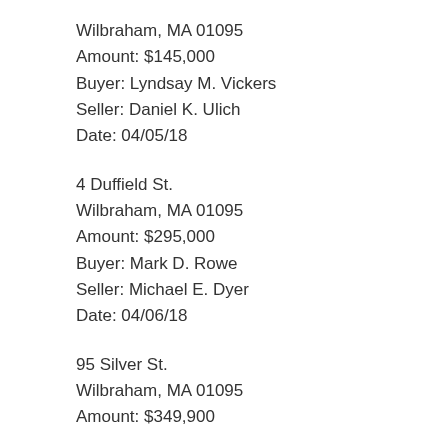Wilbraham, MA 01095
Amount: $145,000
Buyer: Lyndsay M. Vickers
Seller: Daniel K. Ulich
Date: 04/05/18
4 Duffield St.
Wilbraham, MA 01095
Amount: $295,000
Buyer: Mark D. Rowe
Seller: Michael E. Dyer
Date: 04/06/18
95 Silver St.
Wilbraham, MA 01095
Amount: $349,900